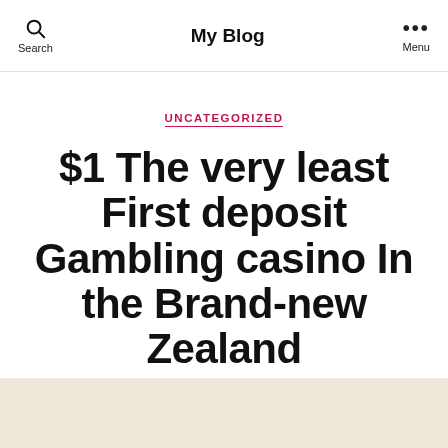My Blog
UNCATEGORIZED
$1 The very least First deposit Gambling casino In the Brand-new Zealand
By admin   June 11, 2021